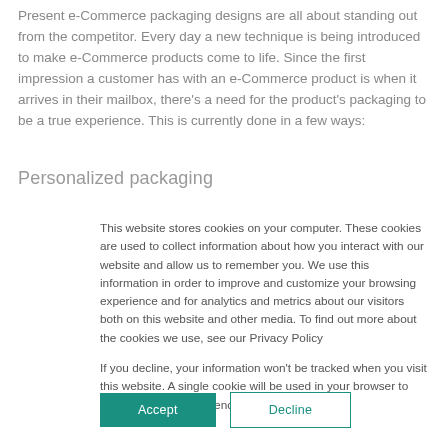Present e-Commerce packaging designs are all about standing out from the competitor. Every day a new technique is being introduced to make e-Commerce products come to life. Since the first impression a customer has with an e-Commerce product is when it arrives in their mailbox, there's a need for the product's packaging to be a true experience. This is currently done in a few ways:
Personalized packaging
This website stores cookies on your computer. These cookies are used to collect information about how you interact with our website and allow us to remember you. We use this information in order to improve and customize your browsing experience and for analytics and metrics about our visitors both on this website and other media. To find out more about the cookies we use, see our Privacy Policy
If you decline, your information won't be tracked when you visit this website. A single cookie will be used in your browser to remember your preference not to be tracked.
Accept
Decline